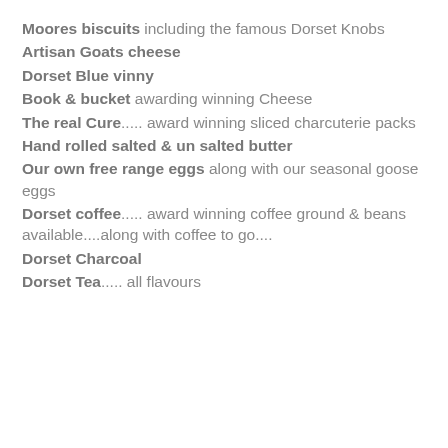Moores biscuits including the famous Dorset Knobs
Artisan Goats cheese
Dorset Blue vinny
Book & bucket awarding winning Cheese
The real Cure..... award winning sliced charcuterie packs
Hand rolled salted & un salted butter
Our own free range eggs along with our seasonal goose eggs
Dorset coffee..... award winning coffee ground & beans available....along with coffee to go....
Dorset Charcoal
Dorset Tea..... all flavours